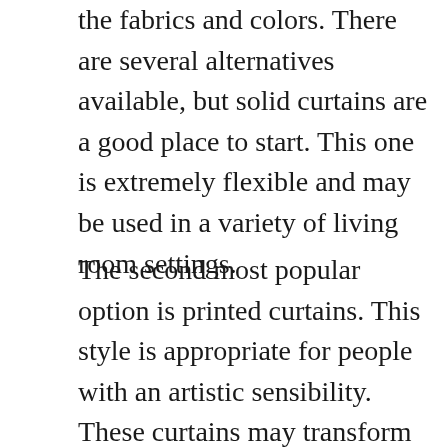the fabrics and colors. There are several alternatives available, but solid curtains are a good place to start. This one is extremely flexible and may be used in a variety of living room settings.
The second most popular option is printed curtains. This style is appropriate for people with an artistic sensibility. These curtains may transform windows into a decorative feature on their own! It serves a similar purpose as a decorative rug in certain ways.
[Figure (photo): Partial view of a photo showing curtains, partially cut off at the bottom of the page.]